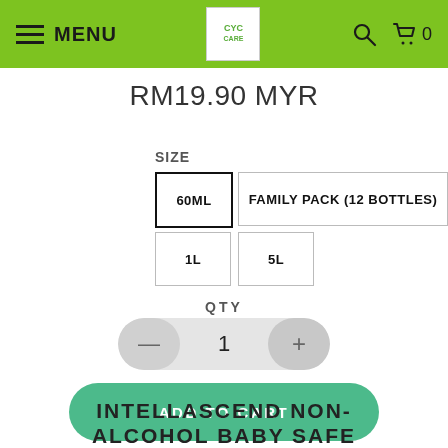MENU
RM19.90 MYR
SIZE
60ML
FAMILY PACK (12 BOTTLES)
1L
5L
QTY
1
ADD TO CART
INTELLASCEND NON-ALCOHOL BABY SAFE